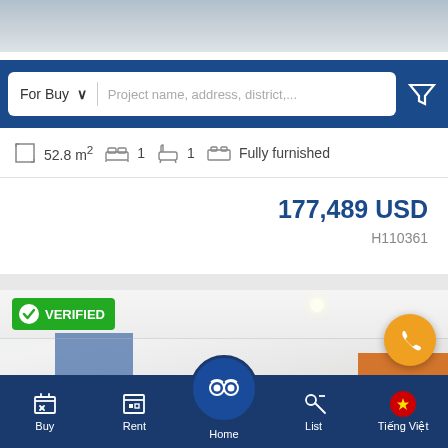[Figure (screenshot): Top portion of a property listing image, partially visible]
For Buy  |  Project name, address, district,...
52.8 m²  1  1  Fully furnished
177,489 USD
H110361
[Figure (photo): Interior photo of a modern apartment with white ceilings, recessed lighting, glass door/window on left, and orange furniture on right. Has a VERIFIED badge overlay.]
Buy  Rent  Home  List  Tiếng Việt